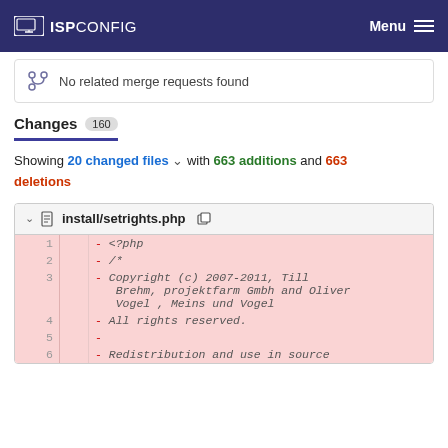ISPCONFIG  Menu
No related merge requests found
Changes 160
Showing 20 changed files with 663 additions and 663 deletions
install/setrights.php
| line |  | code |
| --- | --- | --- |
| 1 | - | <?php |
| 2 | - | /* |
| 3 | - | Copyright (c) 2007-2011, Till Brehm, projektfarm Gmbh and Oliver Vogel , Meins und Vogel |
| 4 | - | All rights reserved. |
| 5 | - |  |
| 6 | - | Redistribution and use in source |